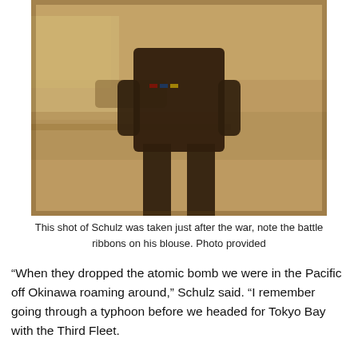[Figure (photo): Sepia-toned vintage photograph of a man (Schulz) standing outdoors, wearing a dark military uniform with battle ribbons visible on his blouse. His hands are in his pockets. A building and driveway are visible in the background.]
This shot of Schulz was taken just after the war, note the battle ribbons on his blouse. Photo provided
“When they dropped the atomic bomb we were in the Pacific off Okinawa roaming around,” Schulz said. “I remember going through a typhoon before we headed for Tokyo Bay with the Third Fleet.